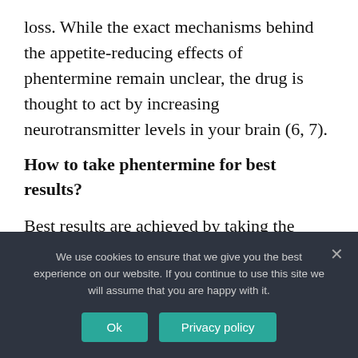loss. While the exact mechanisms behind the appetite-reducing effects of phentermine remain unclear, the drug is thought to act by increasing neurotransmitter levels in your brain (6, 7).
How to take phentermine for best results?
Best results are achieved by taking the Phentermine in mid-morning on an empty stomach. You may have to adjust the time that you take the medication, depending on
We use cookies to ensure that we give you the best experience on our website. If you continue to use this site we will assume that you are happy with it.